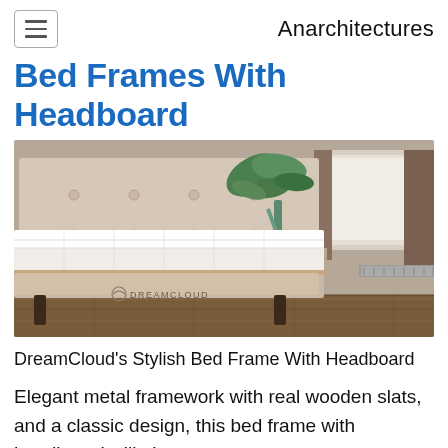Anarchitectures
Bed Frames With Headboard
[Figure (photo): A DreamCloud bed frame with upholstered headboard in a bedroom setting, with a white mattress, wooden floor, fern plant, and concrete wall with window.]
DreamCloud's Stylish Bed Frame With Headboard
Elegant metal framework with real wooden slats, and a classic design, this bed frame with headboard will elevate your bedroom.